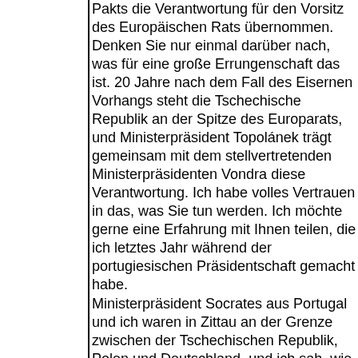Pakts die Verantwortung für den Vorsitz des Europäischen Rats übernommen. Denken Sie nur einmal darüber nach, was für eine große Errungenschaft das ist. 20 Jahre nach dem Fall des Eisernen Vorhangs steht die Tschechische Republik an der Spitze des Europarats, und Ministerpräsident Topolánek trägt gemeinsam mit dem stellvertretenden Ministerpräsidenten Vondra diese Verantwortung. Ich habe volles Vertrauen in das, was Sie tun werden. Ich möchte gerne eine Erfahrung mit Ihnen teilen, die ich letztes Jahr während der portugiesischen Präsidentschaft gemacht habe. Ministerpräsident Socrates aus Portugal und ich waren in Zittau an der Grenze zwischen der Tschechischen Republik, Polen und Deutschland, und ich sah, wie sehr dieser Moment den Ministerpräsidenten Topolánek berührte. Diese Grenze, die uns einst in die zwei Hälften Europas spaltete, ist nun ein freier Verkehrsknotenpunkt, der von